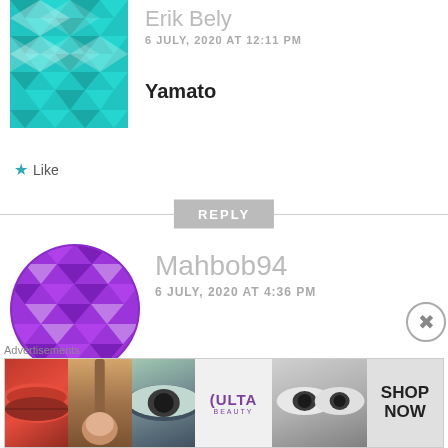[Figure (illustration): Teal geometric/mosaic avatar for user Erik Bely, partially cut off at top]
Erik Bely
6 JULY, 2020 AT 12:11 PM
Yamato
★ Like
REPLY
[Figure (illustration): Purple geometric/mosaic avatar for user Mahbob94]
Mahbob94
6 JULY, 2020 AT 4:36 PM
Yamato pulls out another club while fighting Luffy, where did that come
Advertisements
[Figure (photo): ULTA beauty advertisement banner with makeup images and SHOP NOW button]